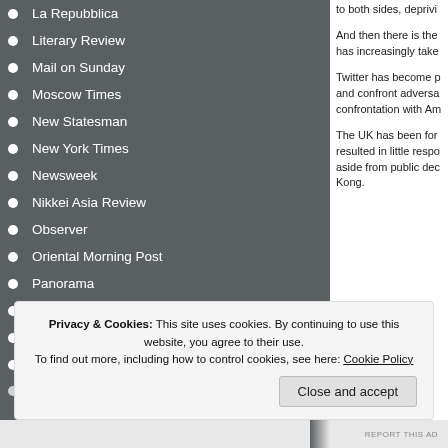La Repubblica
Literary Review
Mail on Sunday
Moscow Times
New Statesman
New York Times
Newsweek
Nikkei Asia Review
Observer
Oriental Morning Post
Panorama
Prospect
Quoted
Reuters
Safety and Security International
to both sides, deprivi
And then there is the has increasingly take
Twitter has become p and confront adversa confrontation with Am
The UK has been for resulted in little respo aside from public dec Kong.
Privacy & Cookies: This site uses cookies. By continuing to use this website, you agree to their use.
To find out more, including how to control cookies, see here: Cookie Policy
Close and accept